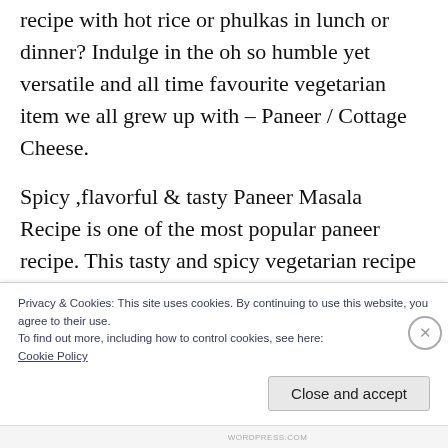recipe with hot rice or phulkas in lunch or dinner? Indulge in the oh so humble yet versatile and all time favourite vegetarian item we all grew up with – Paneer / Cottage Cheese.
Spicy ,flavorful & tasty Paneer Masala Recipe is one of the most popular paneer recipe. This tasty and spicy vegetarian recipe requires few ingredients that are easily available at home. Serve this delicious yummy Paneer Masala Curry with Roti, Naan, Phulka or Rice and pulao.
Privacy & Cookies: This site uses cookies. By continuing to use this website, you agree to their use.
To find out more, including how to control cookies, see here:
Cookie Policy